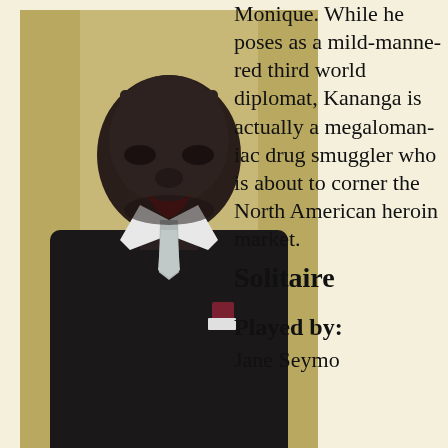[Figure (photo): A man in a dark suit with a silver tie and red pocket square, viewed from chest up, mouth slightly open, against a curtained background.]
Monique. While he poses as a mild-mannered third world diplomat, Kananga is actually a megalomaniac drug smuggler who is about to corner the North American heroin market.
Solitaire
Played by:
Jane Seymour